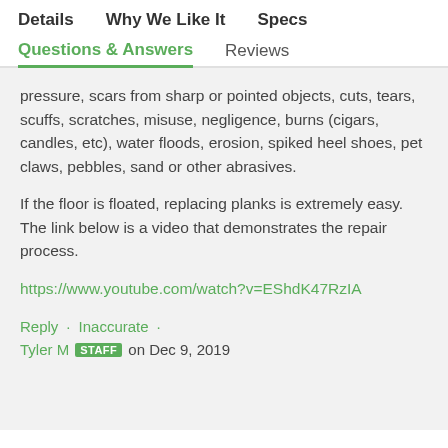Details   Why We Like It   Specs
Questions & Answers   Reviews
pressure, scars from sharp or pointed objects, cuts, tears, scuffs, scratches, misuse, negligence, burns (cigars, candles, etc), water floods, erosion, spiked heel shoes, pet claws, pebbles, sand or other abrasives.
If the floor is floated, replacing planks is extremely easy. The link below is a video that demonstrates the repair process.
https://www.youtube.com/watch?v=EShdK47RzIA
Reply  ·  Inaccurate  ·
Tyler M  STAFF  on Dec 9, 2019